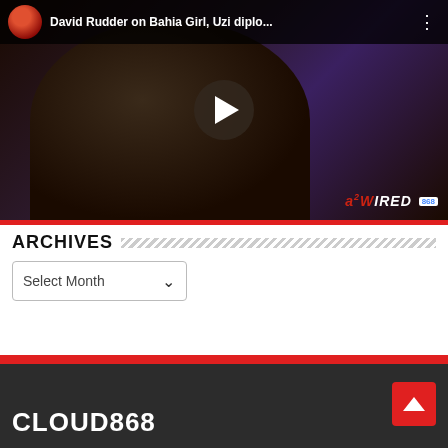[Figure (screenshot): YouTube video thumbnail showing David Rudder being interviewed, with a play button in the center. The video title reads 'David Rudder on Bahia Girl, Uzi diplo...' with a YouTube-style top bar showing a channel avatar, title, and three-dot menu. A 'WIRED868' watermark appears in bottom right.]
ARCHIVES
Select Month
CLOUD868